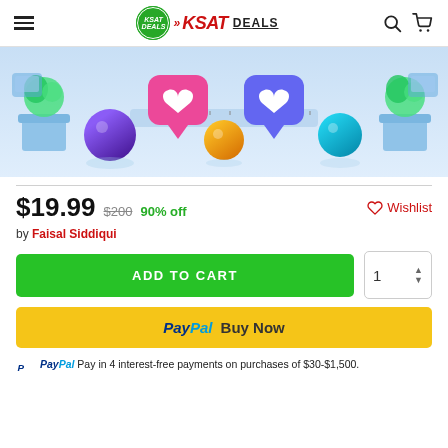KSAT DEALS
[Figure (illustration): Colorful 3D social media scene with heart icons, colorful spheres, plants, rulers on a light blue background]
$19.99  $200  90% off  ♡ Wishlist
by Faisal Siddiqui
ADD TO CART  [qty: 1]
PayPal Buy Now
PayPal Pay in 4 interest-free payments on purchases of $30-$1,500.